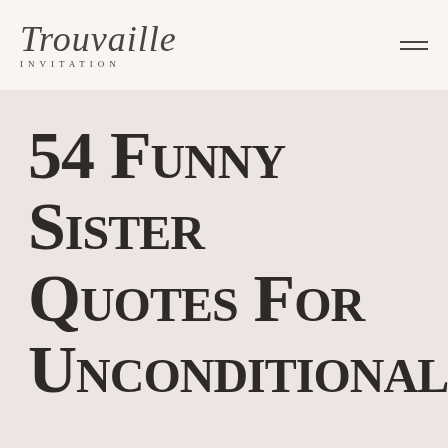Trouvaille INVITATION
54 Funny Sister Quotes For Unconditional